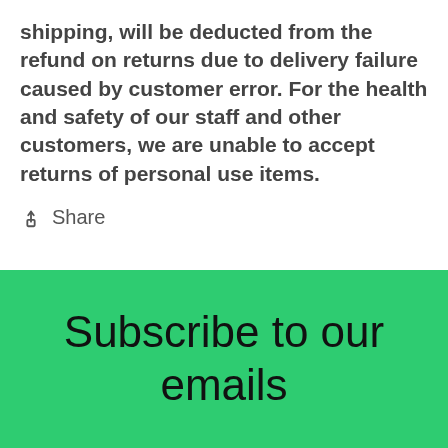shipping, will be deducted from the refund on returns due to delivery failure caused by customer error. For the health and safety of our staff and other customers, we are unable to accept returns of personal use items.
Share
Subscribe to our emails